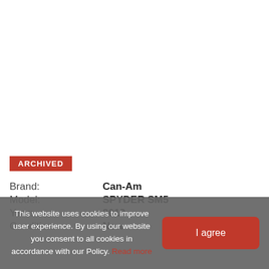ARCHIVED
Brand: Can-Am
Model: SPYDER SM5
Year: 2013
Condition: New
This website uses cookies to improve user experience. By using our website you consent to all cookies in accordance with our Policy. Read more